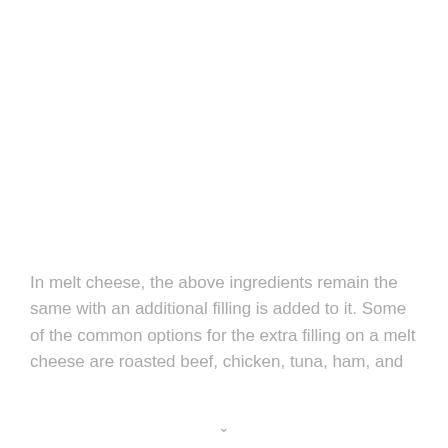In melt cheese, the above ingredients remain the same with an additional filling is added to it. Some of the common options for the extra filling on a melt cheese are roasted beef, chicken, tuna, ham, and